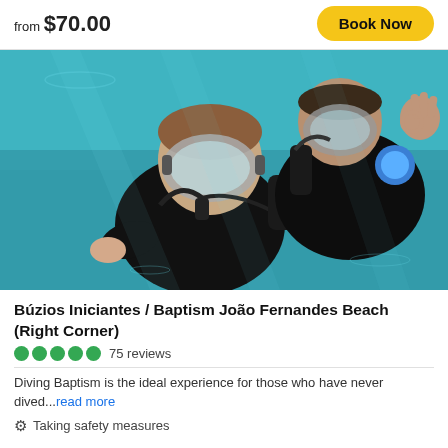from $70.00
Book Now
[Figure (photo): Two scuba divers underwater in clear turquoise water; one person in the foreground wears a diving mask and mouthpiece, the other in background gives an OK sign with their hand. Both wear black wetsuits and diving gear.]
Búzios Iniciantes / Baptism João Fernandes Beach (Right Corner)
75 reviews
Diving Baptism is the ideal experience for those who have never dived...read more
Taking safety measures